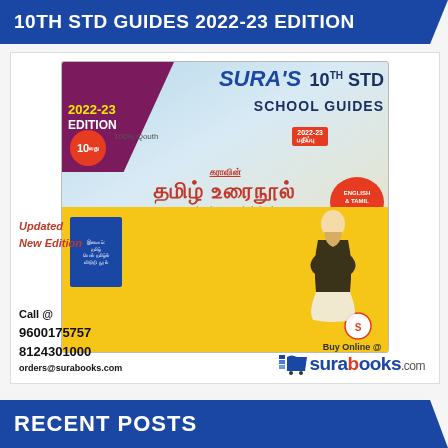10TH STD GUIDES 2022-23 EDITION
[Figure (photo): Sura's 10th STD School Guides book cover for 2022-23 edition showing Tamil Urainool (Tamil Commentary) textbook with a figure of a scholar, contact details including phone numbers 9600175757, 8124301000, email orders@surabooks.com, and surabooks.com logo]
RECENT POSTS